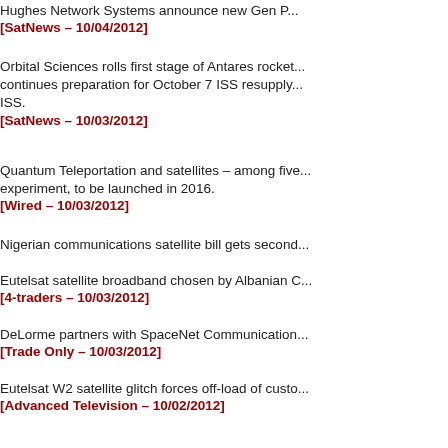Hughes Network Systems announce new Gen P...
[SatNews – 10/04/2012]
Orbital Sciences rolls first stage of Antares rocket... continues preparation for October 7 ISS resupply... ISS.
[SatNews – 10/03/2012]
Quantum Teleportation and satellites – among five... experiment, to be launched in 2016.
[Wired – 10/03/2012]
Nigerian communications satellite bill gets second...
Eutelsat satellite broadband chosen by Albanian C...
[4-traders – 10/03/2012]
DeLorme partners with SpaceNet Communication...
[Trade Only – 10/03/2012]
Eutelsat W2 satellite glitch forces off-load of custo...
[Advanced Television – 10/02/2012]
U.S. helps Vietnam fund second communications...
[Advanced Television – 10/02/2012]
Vislink announces Mantis MSAT, world's lightest b...
[Broadcast Newsroom – 10/02/2012]
Eutelsat leases old Chinese satellite to hold new P...